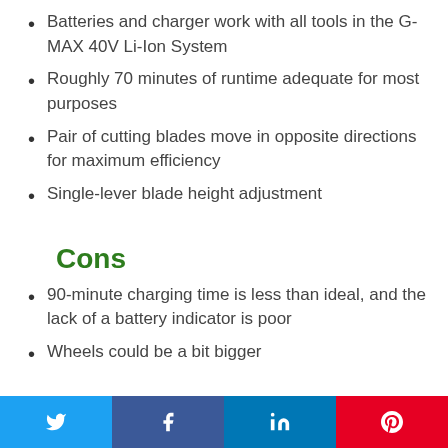Batteries and charger work with all tools in the G-MAX 40V Li-Ion System
Roughly 70 minutes of runtime adequate for most purposes
Pair of cutting blades move in opposite directions for maximum efficiency
Single-lever blade height adjustment
Cons
90-minute charging time is less than ideal, and the lack of a battery indicator is poor
Wheels could be a bit bigger